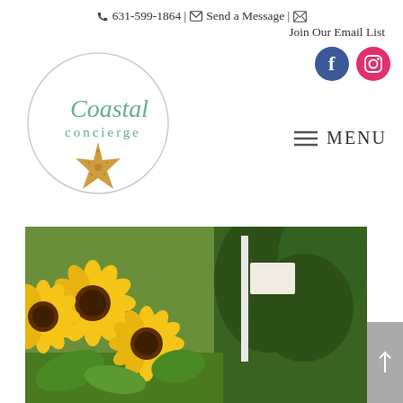📞 631-599-1864 | ✉ Send a Message | 📧 Join Our Email List
[Figure (logo): Coastal Concierge logo — circular border with italic 'Coastal' in teal script, 'concierge' in smaller teal letters, and a starfish illustration at the bottom]
[Figure (infographic): Facebook and Instagram social media icon buttons — Facebook in blue circle, Instagram in pink/red circle]
≡ MENU
[Figure (photo): Photograph of bright yellow sunflowers at what appears to be a market or garden stand, with green foliage and a white sign/post visible in the background]